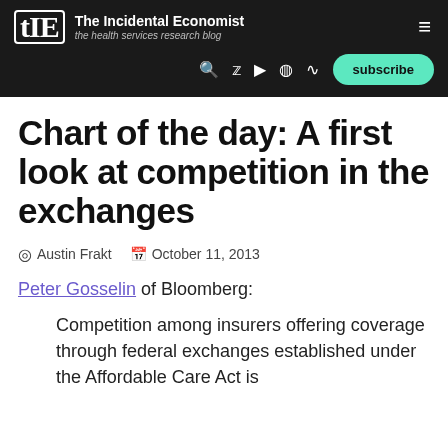The Incidental Economist — the health services research blog
Chart of the day: A first look at competition in the exchanges
Austin Frakt   October 11, 2013
Peter Gosselin of Bloomberg:
Competition among insurers offering coverage through federal exchanges established under the Affordable Care Act is